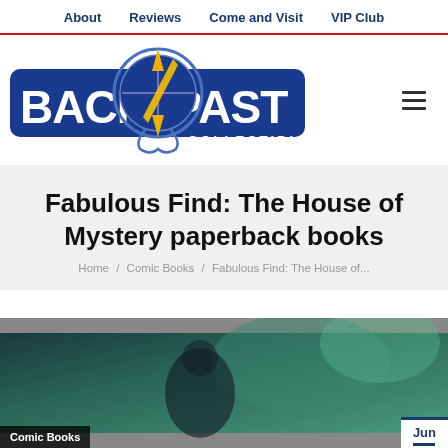About  Reviews  Come and Visit  VIP Club
[Figure (logo): Back to the Past Collectibles logo with compass/anchor graphic and bold blue lettering]
Fabulous Find: The House of Mystery paperback books
Home / Comic Books / Fabulous Find: The House of...
[Figure (illustration): Partial illustration showing a comic book cover with a frightened woman and mystical/supernatural imagery in dark teal tones, labeled Comic Books. A date badge shows Jun.]